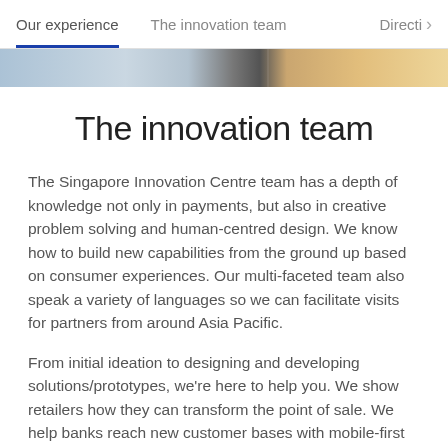Our experience   The innovation team   Directi >
The innovation team
The Singapore Innovation Centre team has a depth of knowledge not only in payments, but also in creative problem solving and human-centred design. We know how to build new capabilities from the ground up based on consumer experiences. Our multi-faceted team also speak a variety of languages so we can facilitate visits for partners from around Asia Pacific.
From initial ideation to designing and developing solutions/prototypes, we're here to help you. We show retailers how they can transform the point of sale. We help banks reach new customer bases with mobile-first solutions. We work with technology